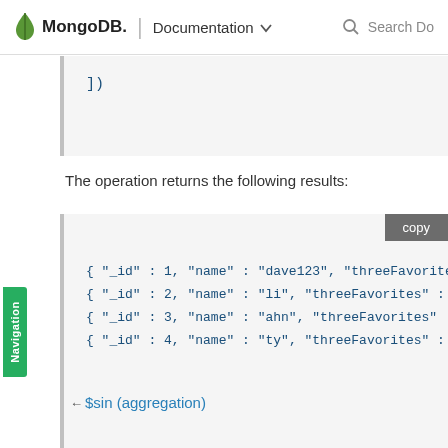MongoDB. | Documentation  Search Do
])
The operation returns the following results:
{ "_id" : 1, "name" : "dave123", "threeFavorite
{ "_id" : 2, "name" : "li", "threeFavorites" :
{ "_id" : 3, "name" : "ahn", "threeFavorites" :
{ "_id" : 4, "name" : "ty", "threeFavorites" :
$sin (aggregation)